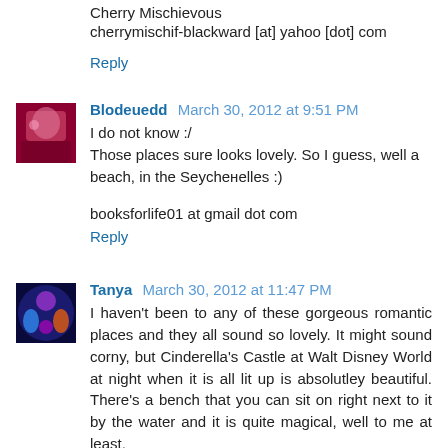Cherry Mischievous
cherrymischif-blackward [at] yahoo [dot] com
Reply
Blodeuedd March 30, 2012 at 9:51 PM
I do not know :/
Those places sure looks lovely. So I guess, well a beach, in the Seychенelles :)
booksforlife01 at gmail dot com
Reply
Tanya March 30, 2012 at 11:47 PM
I haven't been to any of these gorgeous romantic places and they all sound so lovely. It might sound corny, but Cinderella's Castle at Walt Disney World at night when it is all lit up is absolutley beautiful. There's a bench that you can sit on right next to it by the water and it is quite magical, well to me at least.